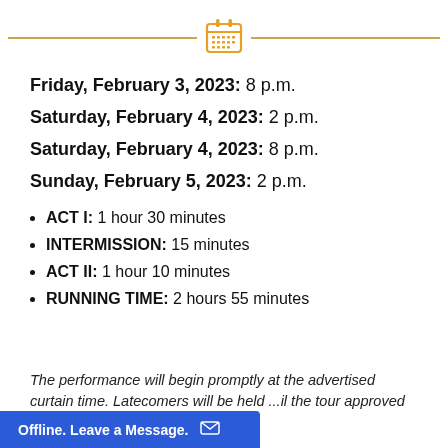[Figure (illustration): Decorative header with golden horizontal rules and a calendar icon in the center]
Friday, February 3, 2023: 8 p.m.
Saturday, February 4, 2023: 2 p.m.
Saturday, February 4, 2023: 8 p.m.
Sunday, February 5, 2023: 2 p.m.
ACT I: 1 hour 30 minutes
INTERMISSION: 15 minutes
ACT II: 1 hour 10 minutes
RUNNING TIME: 2 hours 55 minutes
The performance will begin promptly at the advertised curtain time. Latecomers will be held ...il the tour approved
Offline. Leave a Message.